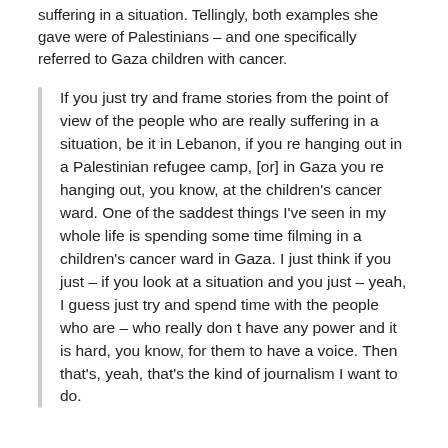suffering in a situation. Tellingly, both examples she gave were of Palestinians – and one specifically referred to Gaza children with cancer.
If you just try and frame stories from the point of view of the people who are really suffering in a situation, be it in Lebanon, if you re hanging out in a Palestinian refugee camp, [or] in Gaza you re hanging out, you know, at the children's cancer ward. One of the saddest things I've seen in my whole life is spending some time filming in a children's cancer ward in Gaza. I just think if you just – if you look at a situation and you just – yeah, I guess just try and spend time with the people who are – who really don t have any power and it is hard, you know, for them to have a voice. Then that's, yeah, that's the kind of journalism I want to do.